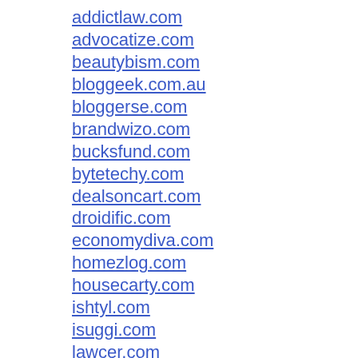addictlaw.com
advocatize.com
beautybism.com
bloggeek.com.au
bloggerse.com
brandwizo.com
bucksfund.com
bytetechy.com
dealsoncart.com
droidific.com
economydiva.com
homezlog.com
housecarty.com
ishtyl.com
isuggi.com
lawcer.com
lawluxury.com
lawrad.com
lawrenca.com